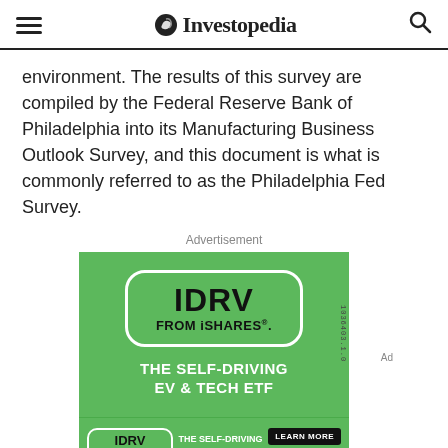Investopedia
environment. The results of this survey are compiled by the Federal Reserve Bank of Philadelphia into its Manufacturing Business Outlook Survey, and this document is what is commonly referred to as the Philadelphia Fed Survey.
Advertisement
[Figure (other): Advertisement for IDRV FROM iSHARES ETF on a green background. Large white-bordered rounded rectangle contains bold text 'IDRV FROM iSHARES.' Below it reads 'THE SELF-DRIVING EV & TECH ETF' in white bold text. A smaller banner ad at the bottom repeats the IDRV branding with a 'LEARN MORE' button and the Fidelity logo.]